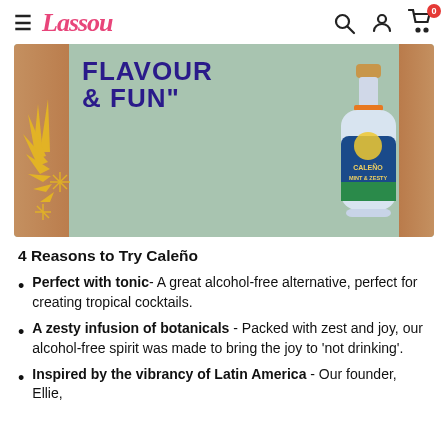Lassou
[Figure (photo): Person wearing a mint green t-shirt with text 'FLAVOUR & FUN' in bold navy blue, holding a bottle of Caleño Mint & Zesty non-alcoholic spirit. Yellow starburst/splash graphic on the left side.]
4 Reasons to Try Caleño
Perfect with tonic - A great alcohol-free alternative, perfect for creating tropical cocktails.
A zesty infusion of botanicals - Packed with zest and joy, our alcohol-free spirit was made to bring the joy to 'not drinking'.
Inspired by the vibrancy of Latin America - Our founder, Ellie,